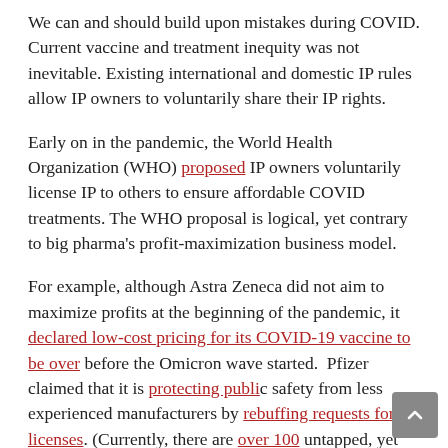We can and should build upon mistakes during COVID. Current vaccine and treatment inequity was not inevitable. Existing international and domestic IP rules allow IP owners to voluntarily share their IP rights.
Early on in the pandemic, the World Health Organization (WHO) proposed IP owners voluntarily license IP to others to ensure affordable COVID treatments. The WHO proposal is logical, yet contrary to big pharma's profit-maximization business model.
For example, although Astra Zeneca did not aim to maximize profits at the beginning of the pandemic, it declared low-cost pricing for its COVID-19 vaccine to be over before the Omicron wave started. Pfizer claimed that it is protecting public safety from less experienced manufacturers by rebuffing requests for licenses. (Currently, there are over 100 untapped, yet competent manufacturers. Meanwhile, Pfizer is projected to earn $32 billion this year... before the CDC recommended a